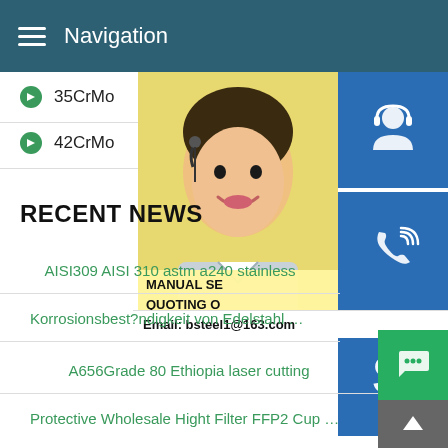Navigation
35CrMo
42CrMo
[Figure (photo): Woman with headset smiling, customer service representative]
[Figure (infographic): Blue button with headset/support icon]
[Figure (infographic): Blue button with phone/call icon]
[Figure (infographic): Blue button with Skype icon]
RECENT NEWS
MANUAL SE... QUOTING O...
Email: bsteel1@163.com
AISI309 AISI 310 astm a240 stainless...
Korrosionsbest?ndigkeit von Edelstahl FestoWiki
A656Grade 80 Ethiopia laser cutting
Protective Wholesale Hight Filter FFP2 Cup Shape Face Ma...